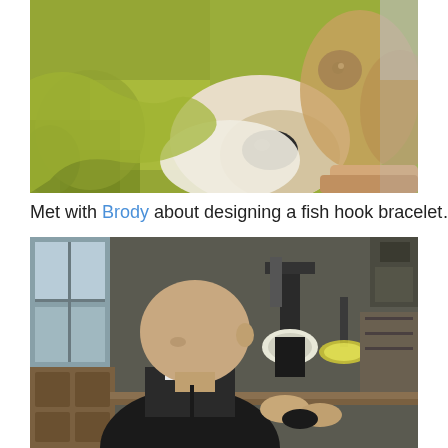[Figure (photo): Close-up photo of a dog (appears to be a beagle or similar breed) wrapped in a bright yellow-green towel, with the dog's face and nose visible]
Met with Brody about designing a fish hook bracelet…
[Figure (photo): Photo of a bald man in a dark sweater leaning over a workbench in a jewelry workshop, examining or working on a small object, with a microscope and various tools visible in the background]